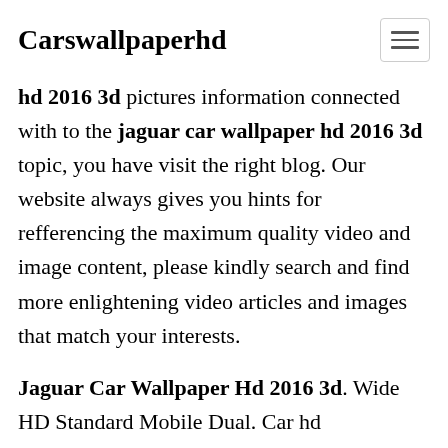Carswallpaperhd
hd 2016 3d pictures information connected with to the jaguar car wallpaper hd 2016 3d topic, you have visit the right blog. Our website always gives you hints for refferencing the maximum quality video and image content, please kindly search and find more enlightening video articles and images that match your interests.
Jaguar Car Wallpaper Hd 2016 3d. Wide HD Standard Mobile Dual. Car hd